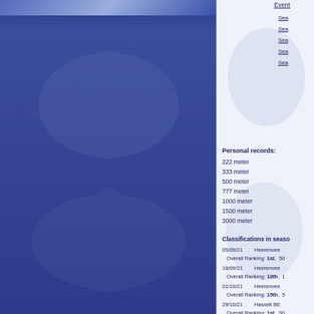Event
Sea
Sea
Sea
Sea
Sea
Personal records:
222 meter
333 meter
500 meter
777 meter
1000 meter
1500 meter
3000 meter
Classifications in seaso
05/09/21   Heerenvee
  Overall Ranking: 1st,  50
18/09/21   Heerenvee
  Overall Ranking: 10th,  1
01/10/21   Heerenvee
  Overall Ranking: 15th,  5
29/10/21   Hasselt BE
  Overall Ranking: 1st,  50
05/11/21   Bormio ITA
  500 meter: 1st,  1000 me
21/11/21   Heerenvee
  Overall Ranking: 4th,  10
31/12/21   Leeuwarde
  Overall Ranking: 5th,  50
29/01/22   Heerenvee
  Overall Ranking: 2nd,